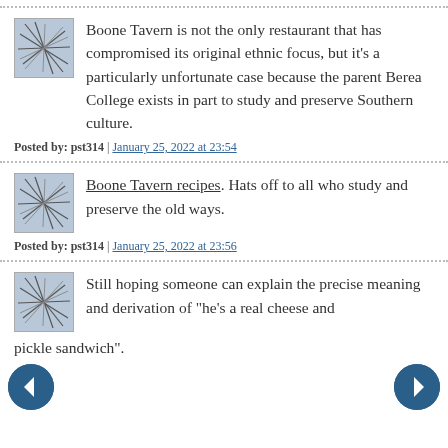Boone Tavern is not the only restaurant that has compromised its original ethnic focus, but it's a particularly unfortunate case because the parent Berea College exists in part to study and preserve Southern culture.
Posted by: pst314 | January 25, 2022 at 23:54
Boone Tavern recipes. Hats off to all who study and preserve the old ways.
Posted by: pst314 | January 25, 2022 at 23:56
Still hoping someone can explain the precise meaning and derivation of "he's a real cheese and pickle sandwich".